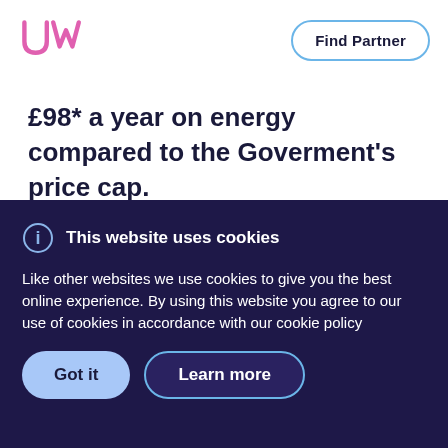[Figure (logo): UW logo in pink/magenta outline lettering]
Find Partner
£98* a year on energy compared to the Goverment's price cap.
This website uses cookies
Like other websites we use cookies to give you the best online experience. By using this website you agree to our use of cookies in accordance with our cookie policy
Got it
Learn more